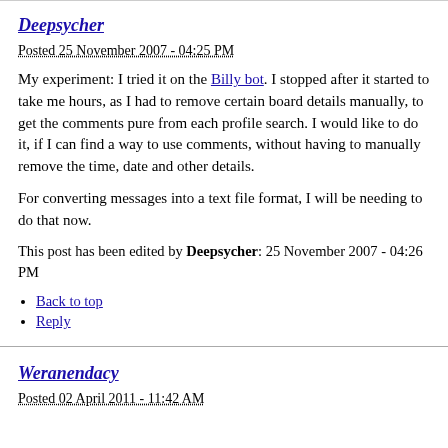Deepsycher
Posted 25 November 2007 - 04:25 PM
My experiment: I tried it on the Billy bot. I stopped after it started to take me hours, as I had to remove certain board details manually, to get the comments pure from each profile search. I would like to do it, if I can find a way to use comments, without having to manually remove the time, date and other details.
For converting messages into a text file format, I will be needing to do that now.
This post has been edited by Deepsycher: 25 November 2007 - 04:26 PM
Back to top
Reply
Weranendacy
Posted 02 April 2011 - 11:42 AM